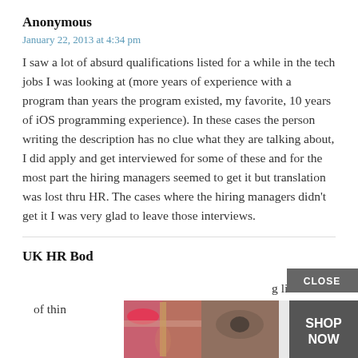Anonymous
January 22, 2013 at 4:34 pm
I saw a lot of absurd qualifications listed for a while in the tech jobs I was looking at (more years of experience with a program than years the program existed, my favorite, 10 years of iOS programming experience). In these cases the person writing the description has no clue what they are talking about, I did apply and get interviewed for some of these and for the most part the hiring managers seemed to get it but translation was lost thru HR. The cases where the hiring managers didn’t get it I was very glad to leave those interviews.
UK HR Bod
January 22, 2013 at 4:47 pm
I’ve be... g list of thin... urrent
[Figure (screenshot): Advertisement overlay from Ulta beauty with CLOSE button, showing makeup images and SHOP NOW button]